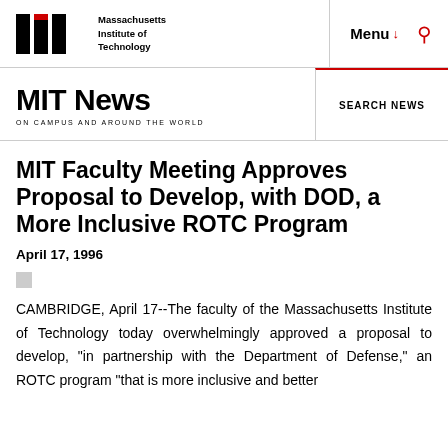Massachusetts Institute of Technology | Menu | Search
MIT News ON CAMPUS AND AROUND THE WORLD | SEARCH NEWS
MIT Faculty Meeting Approves Proposal to Develop, with DOD, a More Inclusive ROTC Program
April 17, 1996
CAMBRIDGE, April 17--The faculty of the Massachusetts Institute of Technology today overwhelmingly approved a proposal to develop, "in partnership with the Department of Defense," an ROTC program "that is more inclusive and better